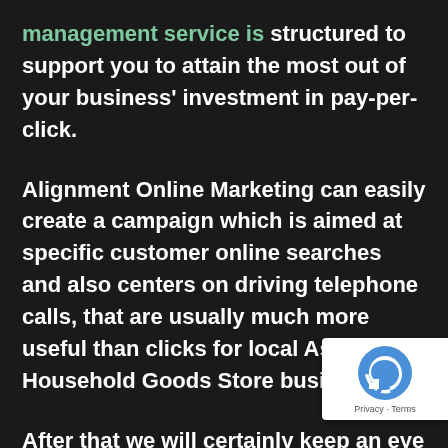management service is structured to support you to attain the most out of your business' investment in pay-per-click.
Alignment Online Marketing can easily create a campaign which is aimed at specific customer online searches and also centers on driving telephone calls, that are usually much more useful than clicks for local Asian Household Goods Store businesses.
After that we will certainly keep an eye on your business' campaigns regularly to guarantee they will continue to deliver quality leads while staying budget plan.
[Figure (logo): reCAPTCHA badge with blue recycling-arrow logo and Privacy - Terms text]